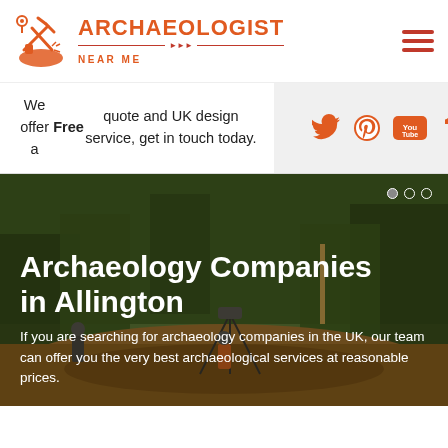[Figure (logo): Archaeologist Near Me logo with crossed tools icon and orange text]
We offer a Free quote and UK design service, get in touch today.
[Figure (infographic): Social media icons: Twitter, Pinterest, YouTube, Tumblr in orange]
[Figure (photo): Outdoor archaeology site with trees, excavation equipment and workers]
Archaeology Companies in Allington
If you are searching for archaeology companies in the UK, our team can offer you the very best archaeological services at reasonable prices.